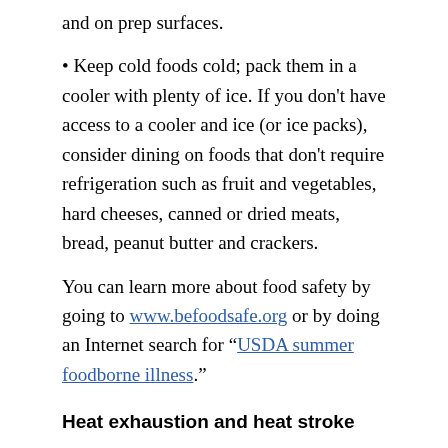and on prep surfaces.
Keep cold foods cold; pack them in a cooler with plenty of ice. If you don't have access to a cooler and ice (or ice packs), consider dining on foods that don't require refrigeration such as fruit and vegetables, hard cheeses, canned or dried meats, bread, peanut butter and crackers.
You can learn more about food safety by going to www.befoodsafe.org or by doing an Internet search for “USDA summer foodborne illness.”
Heat exhaustion and heat stroke
People of all ages are susceptible to heat-related illnesses, says Rebecca Noe, an epidemiologist at CDC’s National Center for Environmental Health. Older people (especially those whose bodies’ ability to regulate